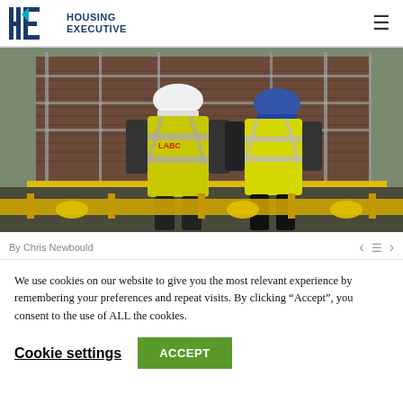[Figure (logo): Housing Executive logo with HE monogram in blue and teal, and text HOUSING EXECUTIVE]
[Figure (photo): Two construction workers in yellow high-visibility vests and hard hats viewed from behind, standing in front of a brick building under construction with scaffolding. One vest reads LABC.]
By Chris Newbould
We use cookies on our website to give you the most relevant experience by remembering your preferences and repeat visits. By clicking “Accept”, you consent to the use of ALL the cookies.
Cookie settings
ACCEPT